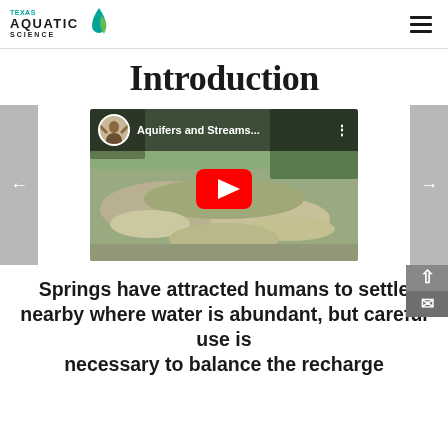Texas Aquatic Science
Introduction
[Figure (screenshot): YouTube video thumbnail for 'Aquifers and Streams...' showing a rocky landscape with a red YouTube play button overlay and a circular avatar of a person in the top-left corner.]
Springs have attracted humans to settle nearby where water is abundant, but careful use is necessary to balance the recharge